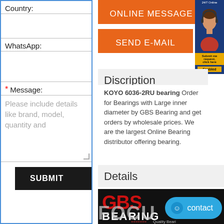Country:
WhatsApp:
* Message:
Please include details like brand, model, quantity and
SUBMIT
ONLINE MESSAGE
SEND E-MAIL
Discription
KOYO 6036-2RU bearing Order for Bearings with Large inner diameter by GBS Bearing and get orders by wholesale prices. We are the largest Online Bearing distributor offering bearing.
Details
[Figure (logo): GBS Bearing logo on dark background with red GBS text and white BEARING text, Quality Bearings tagline]
contact